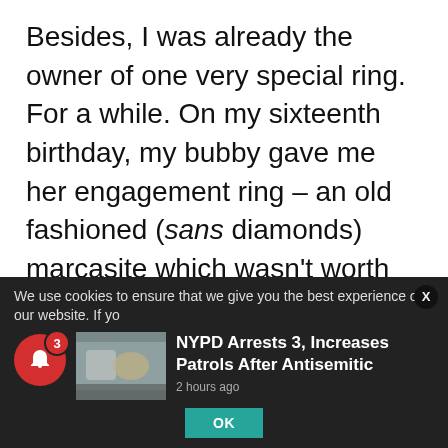Besides, I was already the owner of one very special ring. For a while. On my sixteenth birthday, my bubby gave me her engagement ring – an old fashioned (sans diamonds) marcasite which wasn't worth much in the way of money, but to me, it was precious. When she passed away, her gift was doubly cherished. Several years later, soon after our wedding, we were robbed and her ring, together with everything else in the house, disappeared. I vaguely remember the other stolen items, but I have never forgotten her ring.
We use cookies to ensure that we give you the best experience on our website. If yo
[Figure (screenshot): News card showing a thumbnail image of people on a street and headline: NYPD Arrests 3, Increases Patrols After Antisemitic, with timestamp '2 hours ago'. Below is an OK button in teal.]